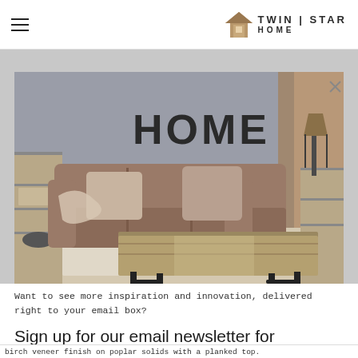TWIN | STAR HOME
[Figure (photo): A modern living room scene featuring a large taupe/brown sectional sofa with throw pillows and a blanket, a reclaimed wood coffee table with black metal pipe legs, shelving units on either side, and large HOME letters mounted on a concrete-look wall. The room has warm industrial styling.]
Want to see more inspiration and innovation, delivered right to your email box?
Sign up for our email newsletter for
birch veneer finish on poplar solids with a planked top.